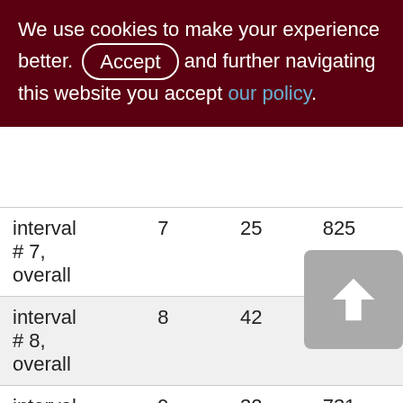We use cookies to make your experience better. By accepting and further navigating this website you accept our policy.
|  |  |  |  |
| --- | --- | --- | --- |
| interval # 7, overall | 7 | 25 | 825 |
| interval # 8, overall | 8 | 42 | 1944 |
| interval # 9, overall | 9 | 32 | 731 |
| interval # 10, overall | 10 | 28 | 1064 |